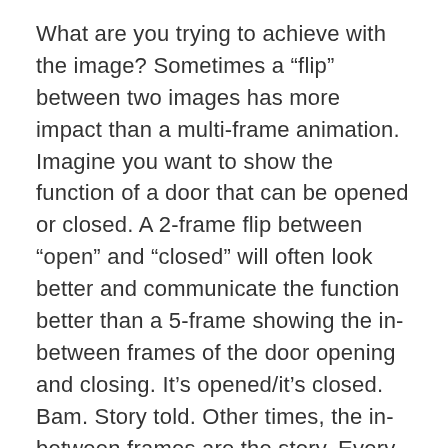What are you trying to achieve with the image? Sometimes a “flip” between two images has more impact than a multi-frame animation. Imagine you want to show the function of a door that can be opened or closed. A 2-frame flip between “open” and “closed” will often look better and communicate the function better than a 5-frame showing the in-between frames of the door opening and closing. It’s opened/it’s closed. Bam. Story told. Other times, the in-between frames are the story. Every story is slightly different.
One way to look at it is that the more frames you use, the less clearly and distinctly you will see each frame. If your animation is of a waterfall, the lack of distinction between frames may not be an issue, and in fact, it may help. However, if your image is